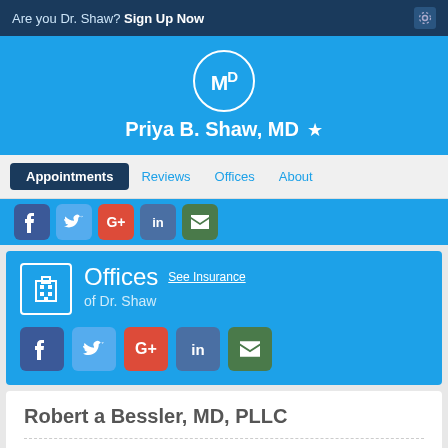Are you Dr. Shaw? Sign Up Now
Priya B. Shaw, MD
Appointments  Reviews  Offices  About
Offices of Dr. Shaw  See Insurance
Robert a Bessler, MD, PLLC
ACCEPTING NEW PATIENTS?
Yes, Dr. Priya B. Shaw is accepting new patients at